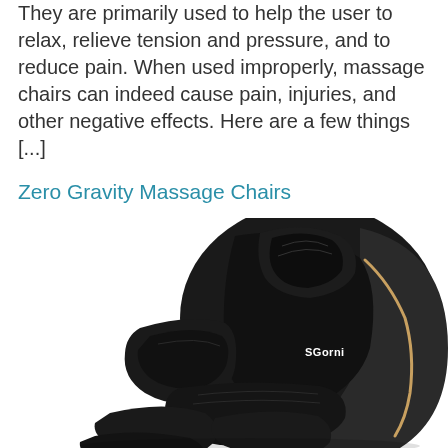They are primarily used to help the user to relax, relieve tension and pressure, and to reduce pain. When used improperly, massage chairs can indeed cause pain, injuries, and other negative effects. Here are a few things [...]
Zero Gravity Massage Chairs
[Figure (photo): A black leather zero gravity massage chair (SGorni brand) photographed on a white background, shown from a front-right angle. The chair features padded armrests, a reclining back with headrest, and extended leg/footrest sections. A gold accent stripe runs along the side. The SGorni logo is visible on the backrest.]